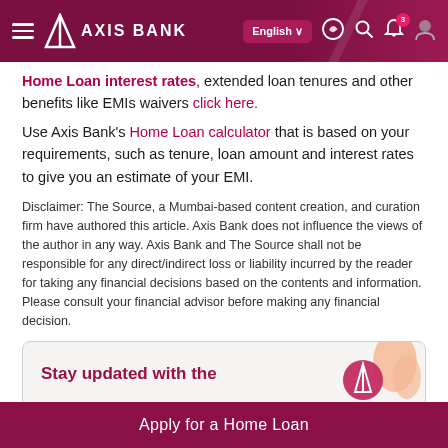Axis Bank - Navigation bar with logo, English selector, WhatsApp, Search, Notifications (3), Profile
Home Loan interest rates, extended loan tenures and other benefits like EMIs waivers click here.
Use Axis Bank's Home Loan calculator that is based on your requirements, such as tenure, loan amount and interest rates to give you an estimate of your EMI.
Disclaimer: The Source, a Mumbai-based content creation, and curation firm have authored this article. Axis Bank does not influence the views of the author in any way. Axis Bank and The Source shall not be responsible for any direct/indirect loss or liability incurred by the reader for taking any financial decisions based on the contents and information. Please consult your financial advisor before making any financial decision.
[Figure (illustration): Promotional card with text 'Stay updated with the' and a decorative icon on right side]
Apply for a Home Loan